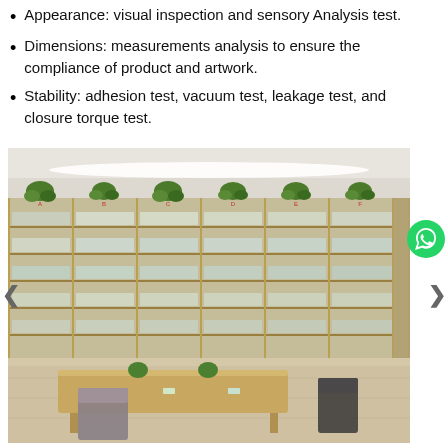Appearance: visual inspection and sensory Analysis test.
Dimensions: measurements analysis to ensure the compliance of product and artwork.
Stability: adhesion test, vacuum test, leakage test, and closure torque test.
[Figure (photo): Interior photo of a cosmetics/pharmaceutical showroom with wooden shelving units filled with product bottles and containers along the walls, plants on top of shelving, a central wooden table with chairs, and a bright ceiling with indirect lighting.]